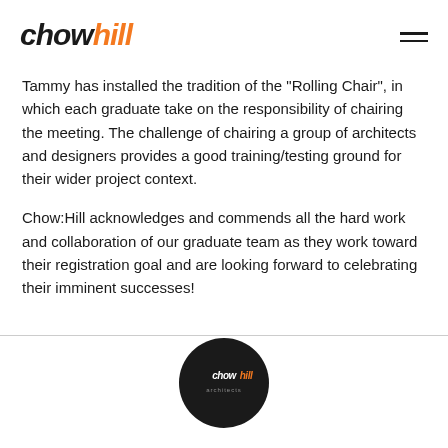chowhill
Tammy has installed the tradition of the "Rolling Chair", in which each graduate take on the responsibility of chairing the meeting. The challenge of chairing a group of architects and designers provides a good training/testing ground for their wider project context.
Chow:Hill acknowledges and commends all the hard work and collaboration of our graduate team as they work toward their registration goal and are looking forward to celebrating their imminent successes!
[Figure (logo): Chow:Hill circular logo in dark background at bottom of page]